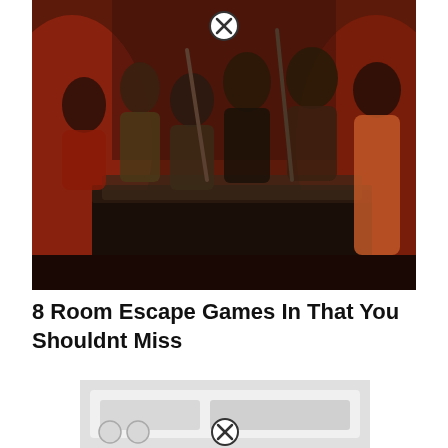[Figure (photo): Group of six people in a dimly lit escape room with red lighting, posing around a large table. They are wearing military-style hats and costumes and holding prop rifles. A circular close/dismiss button (X) appears at the top center of the image.]
8 Room Escape Games In That You Shouldnt Miss
[Figure (photo): Partial view of a second image showing what appears to be a white/light colored room escape game setup or device. A circular close/dismiss button (X) appears in the center of the image. The image is partially cut off at the bottom of the page.]